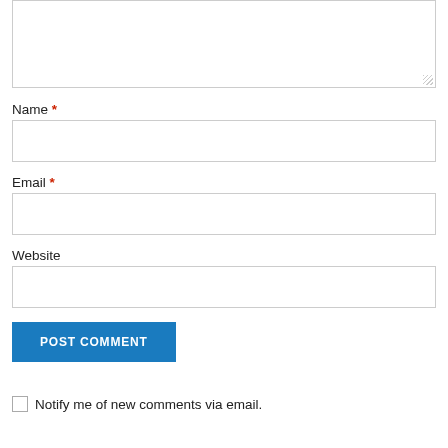[Figure (screenshot): Textarea input field (top portion, mostly cropped)]
Name *
[Figure (screenshot): Name text input field]
Email *
[Figure (screenshot): Email text input field]
Website
[Figure (screenshot): Website text input field]
[Figure (screenshot): POST COMMENT button]
Notify me of new comments via email.